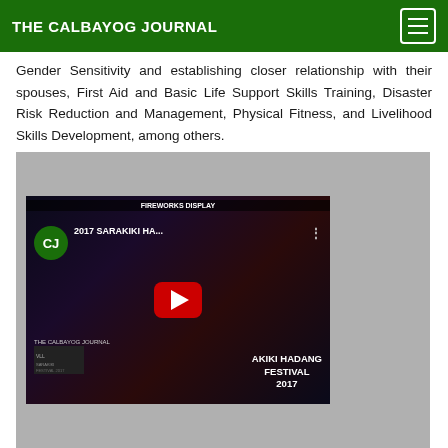THE CALBAYOG JOURNAL
Gender Sensitivity and establishing closer relationship with their spouses, First Aid and Basic Life Support Skills Training, Disaster Risk Reduction and Management, Physical Fitness, and Livelihood Skills Development, among others.
[Figure (screenshot): YouTube video thumbnail for '2017 SARAKIKI HA...' showing a festival fireworks display with the Calbayog Journal CJ logo, a red play button, and text reading 'AKIKI HADANG FESTIVAL 2017' on a dark background.]